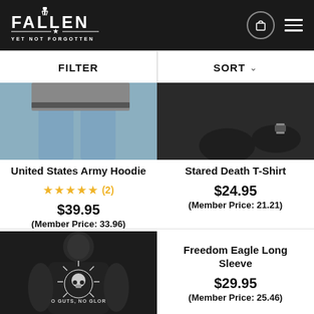[Figure (logo): Fallen Yet Not Forgotten brand logo in white on dark background with shopping cart and hamburger menu icons]
FILTER
SORT
[Figure (photo): Partial photo showing lower body with jeans, product image for United States Army Hoodie]
United States Army Hoodie
★★★★★ (2)
$39.95
(Member Price: 33.96)
[Figure (photo): Partial photo of man wearing black shirt with watch, product image for Stared Death T-Shirt]
Stared Death T-Shirt
$24.95
(Member Price: 21.21)
[Figure (photo): Man wearing black t-shirt with skull/starburst graphic reading NO GUTS, NO GLORY, product image for Freedom Eagle Long Sleeve]
Freedom Eagle Long Sleeve
$29.95
(Member Price: 25.46)